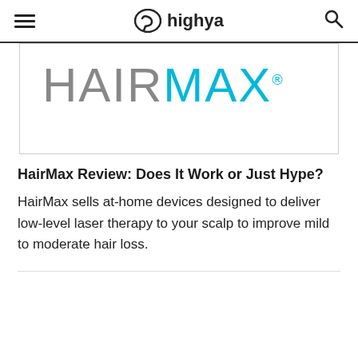≡  ✋ highya  🔍
[Figure (logo): HairMax logo with 'HAIR' in gray and 'MAX' in cyan/teal color, followed by a registered trademark symbol]
HairMax Review: Does It Work or Just Hype?
HairMax sells at-home devices designed to deliver low-level laser therapy to your scalp to improve mild to moderate hair loss.